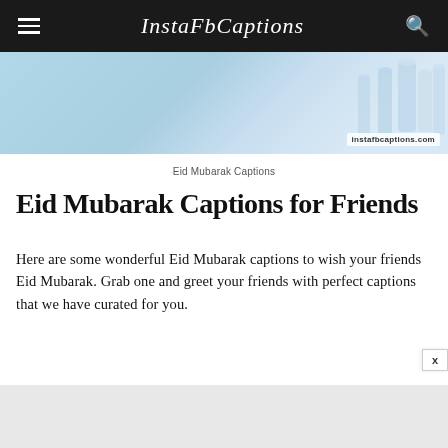InstaFbCaptions
[Figure (photo): Eid Mubarak themed banner image with light blue background and candle/lantern decorations on the right side, with watermark 'instafbcaptions.com']
Eid Mubarak Captions
Eid Mubarak Captions for Friends
Here are some wonderful Eid Mubarak captions to wish your friends Eid Mubarak. Grab one and greet your friends with perfect captions that we have curated for you.